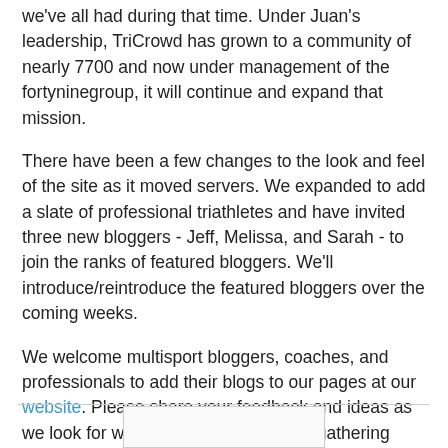we've all had during that time. Under Juan's leadership, TriCrowd has grown to a community of nearly 7700 and now under management of the fortyninegroup, it will continue and expand that mission.
There have been a few changes to the look and feel of the site as it moved servers. We expanded to add a slate of professional triathletes and have invited three new bloggers - Jeff, Melissa, and Sarah - to join the ranks of featured bloggers. We'll introduce/reintroduce the featured bloggers over the coming weeks.
We welcome multisport bloggers, coaches, and professionals to add their blogs to our pages at our website. Please share your feedback and ideas as we look for ways to further serve as a gathering place for triathletes! The best way to stay connected is through our Facebook page. See you there ;-)